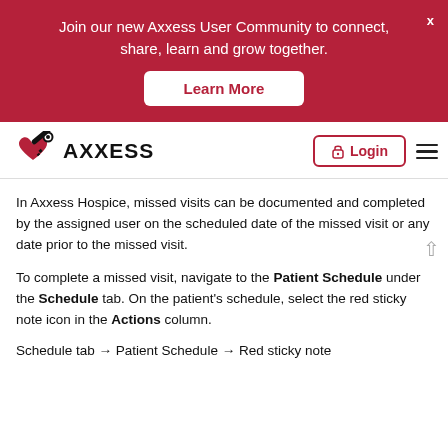Join our new Axxess User Community to connect, share, learn and grow together.
Learn More
[Figure (logo): Axxess logo with heart and key icon]
Login
In Axxess Hospice, missed visits can be documented and completed by the assigned user on the scheduled date of the missed visit or any date prior to the missed visit.
To complete a missed visit, navigate to the Patient Schedule under the Schedule tab. On the patient's schedule, select the red sticky note icon in the Actions column.
Schedule tab → Patient Schedule → Red sticky note